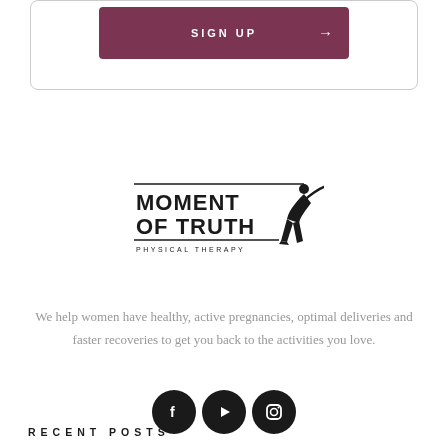[Figure (other): Sign up button with dark mauve/burgundy background and arrow, inside a rounded border box]
[Figure (logo): Moment of Truth Physical Therapy logo with golfer silhouette]
We help women have healthy, active pregnancies, optimal deliveries and faster recoveries to get you back to the activities you love.
[Figure (other): Social media icons: Facebook, YouTube, Instagram — black circles]
RECENT POSTS